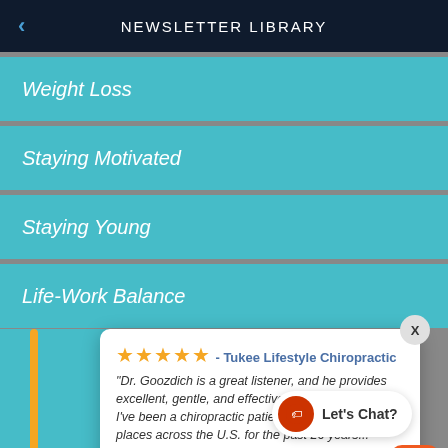NEWSLETTER LIBRARY
Weight Loss
Staying Motivated
Staying Young
Life-Work Balance
[Figure (screenshot): Review overlay popup with 5 stars from Tukee Lifestyle Chiropractic, quote from Dawn Strickland, 1 month ago, with Let's Chat bubble and orange chat button]
"Dr. Goozdich is a great listener, and he provides excellent, gentle, and effective chiropractic care. I've been a chiropractic patient in about 8 different places across the U.S. for the past 26 years..." — Dawn Strickland, 1 month ago